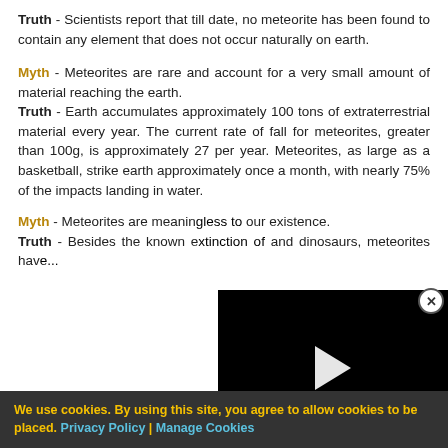Truth - Scientists report that till date, no meteorite has been found to contain any element that does not occur naturally on earth.
Myth - Meteorites are rare and account for a very small amount of material reaching the earth. Truth - Earth accumulates approximately 100 tons of extraterrestrial material every year. The current rate of fall for meteorites, greater than 100g, is approximately 27 per year. Meteorites, as large as a basketball, strike earth approximately once a month, with nearly 75% of the impacts landing in water.
Myth - Meteorites are meaningless to our existence. Truth - Besides the known extinction of dinosaurs, meteorites hav...
[Figure (screenshot): Video player overlay with black background and white play button triangle, with close (X) button in top right corner]
We use cookies. By using this site, you agree to allow cookies to be placed. Privacy Policy | Manage Cookies